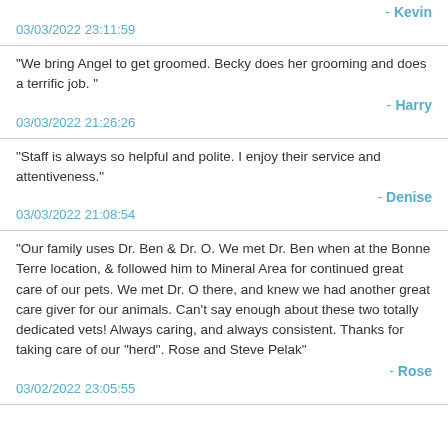- Kevin
03/03/2022 23:11:59
"We bring Angel to get groomed. Becky does her grooming and does a terrific job. "
- Harry
03/03/2022 21:26:26
"Staff is always so helpful and polite. I enjoy their service and attentiveness."
- Denise
03/03/2022 21:08:54
"Our family uses Dr. Ben & Dr. O. We met Dr. Ben when at the Bonne Terre location, & followed him to Mineral Area for continued great care of our pets. We met Dr. O there, and knew we had another great care giver for our animals. Can't say enough about these two totally dedicated vets! Always caring, and always consistent. Thanks for taking care of our "herd". Rose and Steve Pelak"
- Rose
03/02/2022 23:05:55